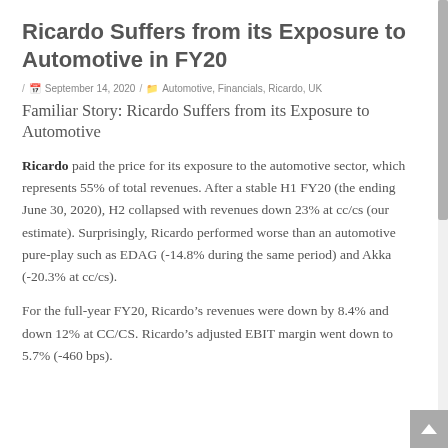Ricardo Suffers from its Exposure to Automotive in FY20
/ September 14, 2020 / Automotive, Financials, Ricardo, UK
Familiar Story: Ricardo Suffers from its Exposure to Automotive
Ricardo paid the price for its exposure to the automotive sector, which represents 55% of total revenues. After a stable H1 FY20 (the ending June 30, 2020), H2 collapsed with revenues down 23% at cc/cs (our estimate). Surprisingly, Ricardo performed worse than an automotive pure-play such as EDAG (-14.8% during the same period) and Akka (-20.3% at cc/cs).
For the full-year FY20, Ricardo’s revenues were down by 8.4% and down 12% at CC/CS. Ricardo’s adjusted EBIT margin went down to 5.7% (-460 bps).